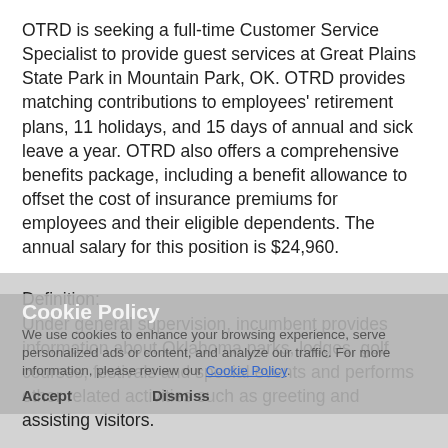OTRD is seeking a full-time Customer Service Specialist to provide guest services at Great Plains State Park in Mountain Park, OK. OTRD provides matching contributions to employees' retirement plans, 11 holidays, and 15 days of annual and sick leave a year. OTRD also offers a comprehensive benefits package, including a benefit allowance to offset the cost of insurance premiums for employees and their eligible dependents. The annual salary for this position is $24,960.
Definition:
Under general supervision, incumbent provides information about Oklahoma parks, lodges, golf courses, festivals and special events and performs other related activities such as greeting and assisting visitors.
Examples of Work Performed:
• Responds to requests for informational materials; researches and fills requests for those requesting such materials and information; ensures an adequate